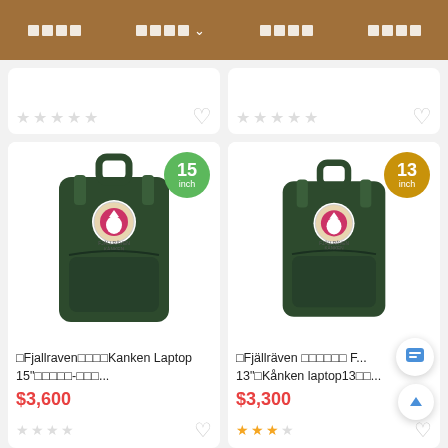□□□□  □□□□ ▾  □□□□  □□□□
[Figure (screenshot): Partial product cards from e-commerce site showing top portions with star ratings and heart icons]
[Figure (photo): Fjallraven Kanken green backpack 15 inch laptop version with pink fox logo badge]
□Fjallraven□□□□Kanken Laptop 15"□□□□□-□□□...
$3,600
[Figure (photo): Fjällräven green backpack 13 inch Kanken laptop version with pink fox logo badge]
□Fjällräven □□□□□□ F... 13"□Kånken laptop13□□...
$3,300